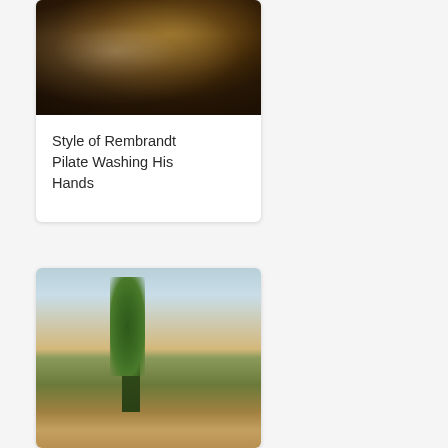[Figure (photo): Card with painting image: Style of Rembrandt - Pilate Washing His Hands. Shows two figures in dark Baroque style painting.]
Style of Rembrandt Pilate Washing His Hands
[Figure (photo): Card with landscape painting image showing trees, figures, and distant mountain or water scene in warm tones.]